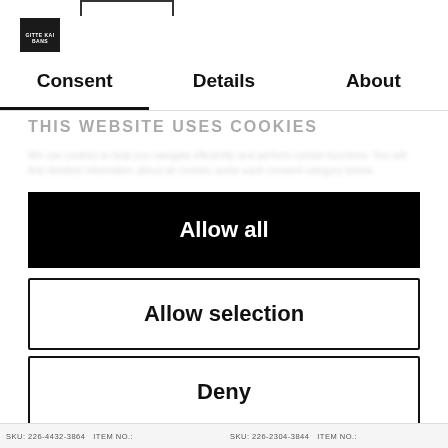[Figure (logo): Small black square logo with white text reading GITTE KAI BANS]
Consent
Details
About
THIS WEBSITE USES COOKIES
Allow all
Allow selection
Deny
Powered by Cookiebot by Usercentrics
SKU: 226-4432-3864   ITEM NO.:      SKU: 226-2304-3844   ITEM NO.: